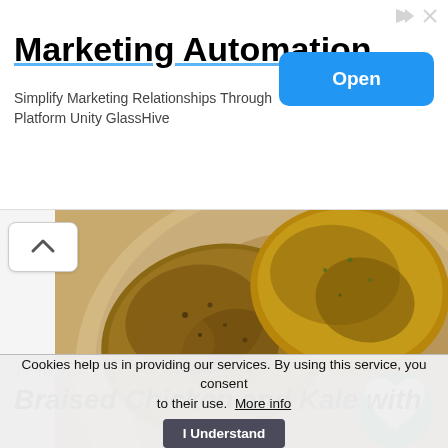[Figure (screenshot): Advertisement banner for Marketing Automation by GlassHive with an Open button]
Marketing Automation
Simplify Marketing Relationships Through Platform Unity GlassHive
[Figure (photo): Close-up food photo of braised chicken pieces on a plate with cream sauce]
recipes
Braised Chicken and Kale with
Cookies help us in providing our services. By using this service, you consent to their use. More info
I Understand